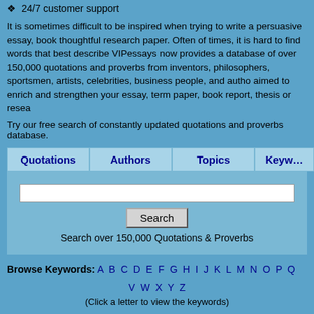❖  24/7 customer support
It is sometimes difficult to be inspired when trying to write a persuasive essay, book thoughtful research paper. Often of times, it is hard to find words that best describe VIPessays now provides a database of over 150,000 quotations and proverbs from inventors, philosophers, sportsmen, artists, celebrities, business people, and autho aimed to enrich and strengthen your essay, term paper, book report, thesis or resea
Try our free search of constantly updated quotations and proverbs database.
Quotations | Authors | Topics | Keyword
[Figure (screenshot): Search box with Search button and label 'Search over 150,000 Quotations & Proverbs']
Browse Keywords: A B C D E F G H I J K L M N O P Q V W X Y Z (Click a letter to view the keywords)
Letter "T" » to that degree
«God will not look you over for medals degrees or diplomas, but for sca
Author: Elbert Hubbard | About: God | Keywords: degrees, diploma, diplomas, in degree, look, medals, cu